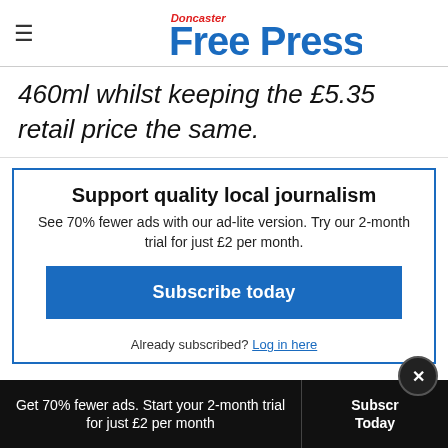Doncaster Free Press
460ml whilst keeping the £5.35 retail price the same.
Support quality local journalism
See 70% fewer ads with our ad-lite version. Try our 2-month trial for just £2 per month.
Subscribe today
Already subscribed? Log in here
Get 70% fewer ads. Start your 2-month trial for just £2 per month | Subscribe Today